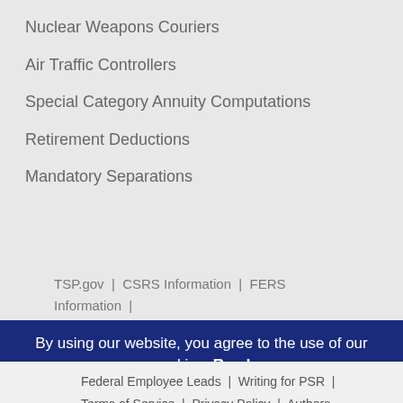Nuclear Weapons Couriers
Air Traffic Controllers
Special Category Annuity Computations
Retirement Deductions
Mandatory Separations
TSP.gov  |  CSRS Information  |  FERS Information  |  Liteblue.usps.gov
By using our website, you agree to the use of our cookies. Read More...
Federal Employee Leads  |  Writing for PSR  |  Terms of Service  |  Privacy Policy  |  Authors